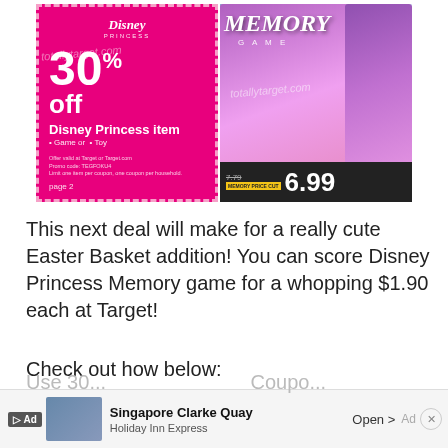[Figure (photo): Left: Disney Princess coupon showing 30% off Disney Princess item (Game or Toy), with pink background and dashed border, totallytarget.com watermark. Right: Photo of Disney Princess Memory Game boxes on Target shelf with price tag showing 6.99 (marked down from 7.79).]
This next deal will make for a really cute Easter Basket addition! You can score Disney Princess Memory game for a whopping $1.90 each at Target!
Check out how below:
Disney Princess Memory Game $6.99 (on price Cut through 4/6)
Use 30%...